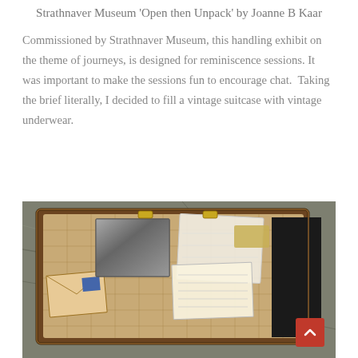Strathnaver Museum 'Open then Unpack' by Joanne B Kaar
Commissioned by Strathnaver Museum, this handling exhibit on the theme of journeys, is designed for reminiscence sessions. It was important to make the sessions fun to encourage chat.  Taking the brief literally, I decided to fill a vintage suitcase with vintage underwear.
[Figure (photo): Open vintage suitcase photographed from above on a stone/pavement background, containing old photographs, fabric/clothing items, papers, envelopes with stamps, and other memorabilia arranged inside the case.]